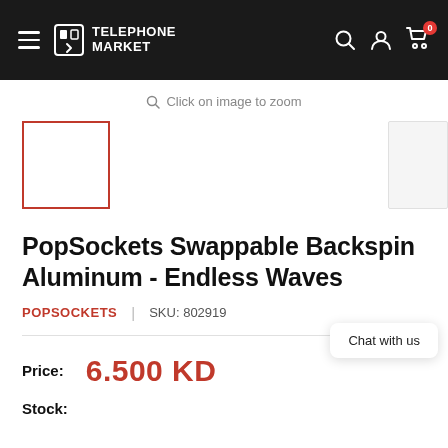TELEPHONE MARKET
Click on image to zoom
[Figure (photo): Product thumbnail image placeholder with red border (selected state), and a second thumbnail partially visible on the right]
PopSockets Swappable Backspin Aluminum - Endless Waves
POPSOCKETS  |  SKU: 802919
Chat with us
Price:  6.500 KD
Stock: